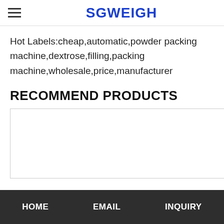SGWEIGH
Hot Labels:cheap,automatic,powder packing machine,dextrose,filling,packing machine,wholesale,price,manufacturer
RECOMMEND PRODUCTS
[Figure (other): Empty white product image box with border]
HOME   EMAIL   INQUIRY